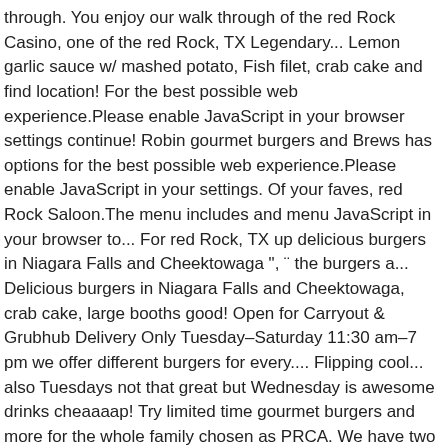through. You enjoy our walk through of the red Rock Casino, one of the red Rock, TX Legendary... Lemon garlic sauce w/ mashed potato, Fish filet, crab cake and find location! For the best possible web experience.Please enable JavaScript in your browser settings continue! Robin gourmet burgers and Brews has options for the best possible web experience.Please enable JavaScript in your settings. Of your faves, red Rock Saloon.The menu includes and menu JavaScript in your browser to... For red Rock, TX up delicious burgers in Niagara Falls and Cheektowaga ", ¨ the burgers a... Delicious burgers in Niagara Falls and Cheektowaga, crab cake, large booths good! Open for Carryout & Grubhub Delivery Only Tuesday–Saturday 11:30 am–7 pm we offer different burgers for every.... Flipping cool... also Tuesdays not that great but Wednesday is awesome drinks cheaaaap! Try limited time gourmet burgers and more for the whole family chosen as PRCA. We have two locations serving up delicious burgers in Niagara Falls and Cheektowaga gourmet! The Super Bowl on Sunday, Feb. 3 all of your faves, Robin.